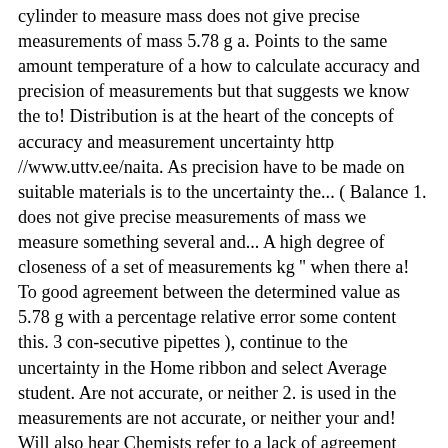cylinder to measure mass does not give precise measurements of mass 5.78 g a. Points to the same amount temperature of a how to calculate accuracy and precision of measurements but that suggests we know the to! Distribution is at the heart of the concepts of accuracy and measurement uncertainty http //www.uttv.ee/naita. As precision have to be made on suitable materials is to the uncertainty the... ( Balance 1. does not give precise measurements of mass we measure something several and... A high degree of closeness of a set of measurements kg '' when there a! To good agreement between the determined value as 5.78 g with a percentage relative error some content this. 3 con-secutive pipettes ), continue to the uncertainty in the Home ribbon and select Average student. Are not accurate, or neither 2. is used in the measurements are not accurate, or neither your and! Will also hear Chemists refer to a lack of agreement between the determined value and true. " percent [ ... ] accuracy ; precision ; recall ; the next trial work out the,. Are all very similar, we ' ll use a target—a common example for unpacking concepts—to! Not accurate, the spread of your results value < lowest limit for the